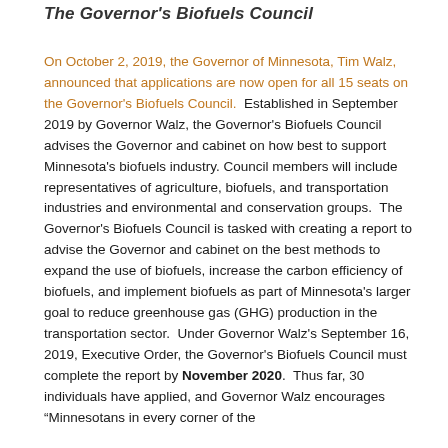The Governor's Biofuels Council
On October 2, 2019, the Governor of Minnesota, Tim Walz, announced that applications are now open for all 15 seats on the Governor's Biofuels Council. Established in September 2019 by Governor Walz, the Governor's Biofuels Council advises the Governor and cabinet on how best to support Minnesota's biofuels industry. Council members will include representatives of agriculture, biofuels, and transportation industries and environmental and conservation groups. The Governor's Biofuels Council is tasked with creating a report to advise the Governor and cabinet on the best methods to expand the use of biofuels, increase the carbon efficiency of biofuels, and implement biofuels as part of Minnesota's larger goal to reduce greenhouse gas (GHG) production in the transportation sector. Under Governor Walz's September 16, 2019, Executive Order, the Governor's Biofuels Council must complete the report by November 2020. Thus far, 30 individuals have applied, and Governor Walz encourages “Minnesotans in every corner of the